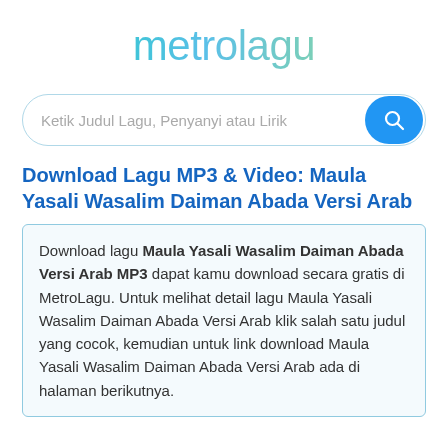metrolagu
[Figure (other): Search bar with placeholder text 'Ketik Judul Lagu, Penyanyi atau Lirik' and a blue search button]
Download Lagu MP3 & Video: Maula Yasali Wasalim Daiman Abada Versi Arab
Download lagu Maula Yasali Wasalim Daiman Abada Versi Arab MP3 dapat kamu download secara gratis di MetroLagu. Untuk melihat detail lagu Maula Yasali Wasalim Daiman Abada Versi Arab klik salah satu judul yang cocok, kemudian untuk link download Maula Yasali Wasalim Daiman Abada Versi Arab ada di halaman berikutnya.